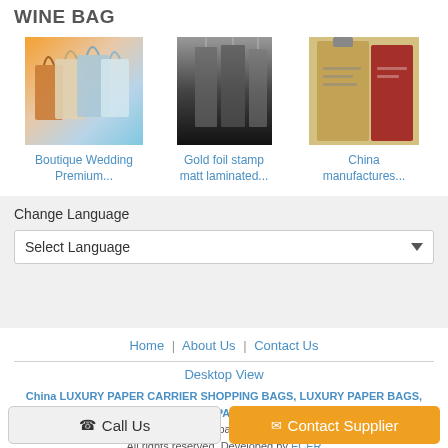WINE BAG
[Figure (photo): Product image of Boutique Wedding Premium shopping bags with colorful gradient paper bags]
Boutique Wedding Premium...
[Figure (photo): Product image of Gold foil stamp matt laminated bag showing hanging bags]
Gold foil stamp matt laminated...
[Figure (photo): Product image of China manufactures wine bag in red and brown]
China manufactures...
Change Language
Select Language
Home | About Us | Contact Us
Desktop View
China LUXURY PAPER CARRIER SHOPPING BAGS, LUXURY PAPER BAGS, LUXURY SHOPPING BAGS, KRAFT PAPER WINE BAG Supplier. Copyright © 2017 - 2022 bagplastics.cn. All rights reserved. Developed by ECER
Call Us
Contact Supplier